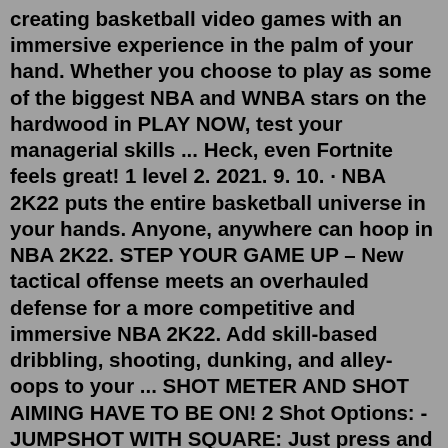creating basketball video games with an immersive experience in the palm of your hand. Whether you choose to play as some of the biggest NBA and WNBA stars on the hardwood in PLAY NOW, test your managerial skills ... Heck, even Fortnite feels great! 1 level 2. 2021. 9. 10. · NBA 2K22 puts the entire basketball universe in your hands. Anyone, anywhere can hoop in NBA 2K22. STEP YOUR GAME UP – New tactical offense meets an overhauled defense for a more competitive and immersive NBA 2K22. Add skill-based dribbling, shooting, dunking, and alley-oops to your ... SHOT METER AND SHOT AIMING HAVE TO BE ON! 2 Shot Options: -JUMPSHOT WITH SQUARE: Just press and hold THE SQUARE (PS4) / X (XBOX) button. the script releases it for you when it should. [this option is the same as my previous 2k20 script] -JUMPSHOT WITH PRO STICK AIMING: Just press and hold the RIGHT ANALOG STICK.Give NBA 2K21 High priority via task manager. 1) Run NBA 2K21. 2) Open Task Manager. CTRL+ SHIFT+ ESC. 3) Set it in the...